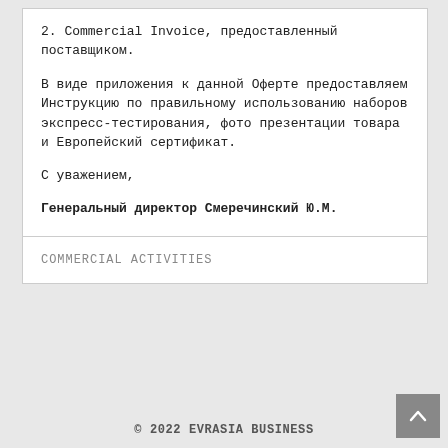2. Commercial Invoice, предоставленный поставщиком.
В виде приложения к данной Оферте предоставляем Инструкцию по правильному использованию наборов экспресс-тестирования, фото презентации товара и Европейский сертификат.
С уважением,
Генеральный директор Смеречинский Ю.М.
COMMERCIAL ACTIVITIES
© 2022 EVRASIA BUSINESS